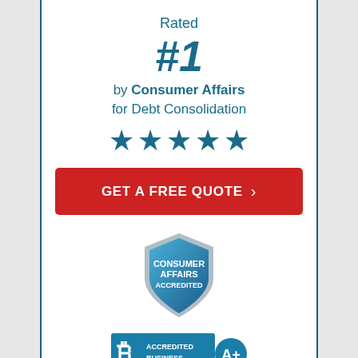Rated
#1
by Consumer Affairs for Debt Consolidation
[Figure (infographic): Five blue star rating icons in a row]
[Figure (other): Red button with text GET A FREE QUOTE and chevron]
[Figure (logo): Consumer Affairs Accredited shield badge in blue]
[Figure (logo): BBB Accredited Business badge with A+ rating]